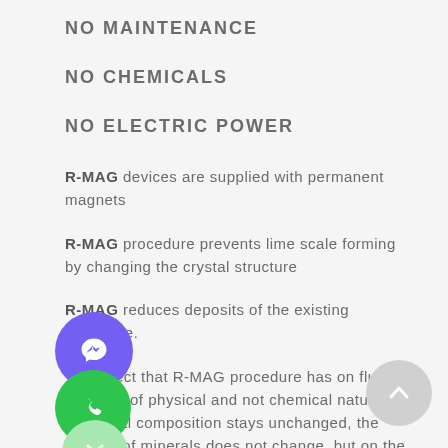NO MAINTENANCE
NO CHEMICALS
NO ELECTRIC POWER
R-MAG devices are supplied with permanent magnets
R-MAG procedure prevents lime scale forming by changing the crystal structure
R-MAG reduces deposits of the existing limestone.
The effect that R-MAG procedure has on fluids is purely of physical and not chemical nature. Chemical composition stays unchanged, the content of minerals does not change, but on the